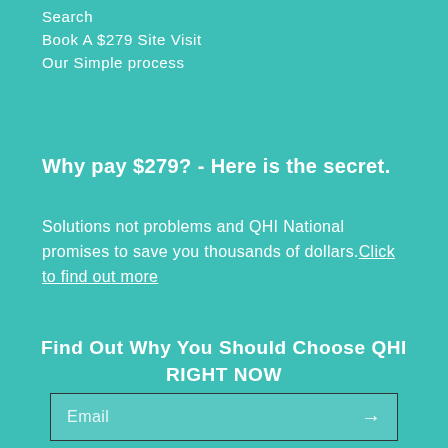Search
Book A $279 Site Visit
Our Simple process
Why pay $279? - Here is the secret.
Solutions not problems and QHI National promises to save you thousands of dollars.Click to find out more
Find Out Why You Should Choose QHI RIGHT NOW
Email